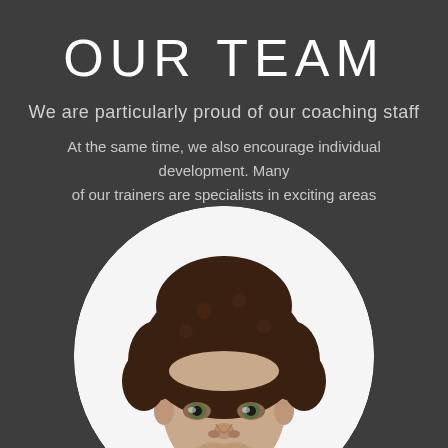OUR TEAM
We are particularly proud of our coaching staff
At the same time, we also encourage individual development. Many of our trainers are specialists in exciting areas
[Figure (photo): Circular portrait photo of a young man with curly brown hair, smiling, on a white background]